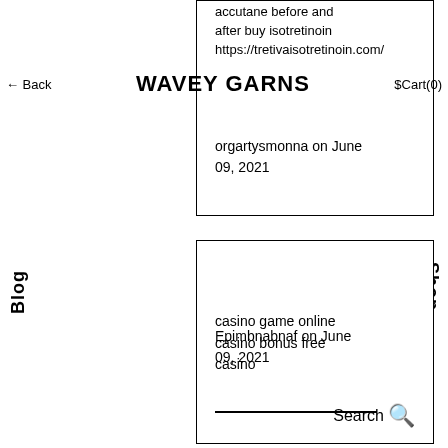accutane before and after buy isotretinoin https://tretivaisotretinoin.com/
← Back  WAVEY GARNS  $Cart(0)
orgartysmonna on June 09, 2021
casino game online casino bonus free casino
Epimbnabnaf on June 09, 2021
Search 🔍
Blog
Shop